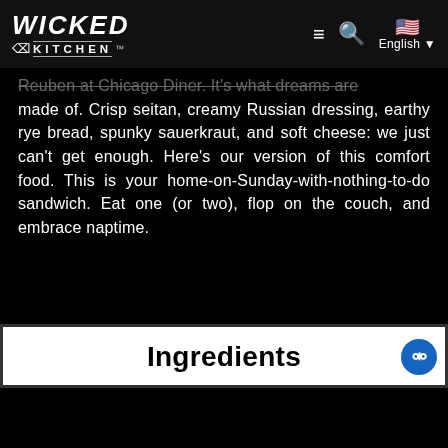Wicked Kitchen — Navigation bar with logo, hamburger menu, search icon, and English language selector
Reuben at Chicago Diner. It's what dreams are made of. Crisp seitan, creamy Russian dressing, earthy rye bread, spunky sauerkraut, and soft cheese: we just can't get enough. Here's our version of this comfort food. This is your home-on-Sunday-with-nothing-to-do sandwich. Eat one (or two), flop on the couch, and embrace naptime.
Ingredients